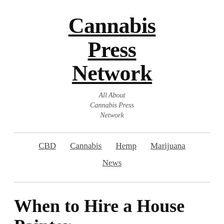Cannabis Press Network
All About Cannabis Press Network
CBD  Cannabis  Hemp  Marijuana  News
When to Hire a House Painter
Jun 21